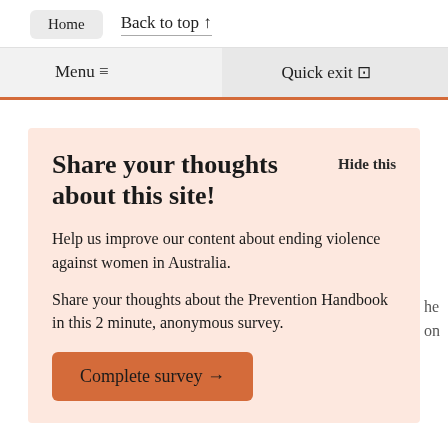Home   Back to top ↑
Menu ≡   Quick exit ⊡
Share your thoughts about this site!
Hide this
Help us improve our content about ending violence against women in Australia.
Share your thoughts about the Prevention Handbook in this 2 minute, anonymous survey.
Complete survey →